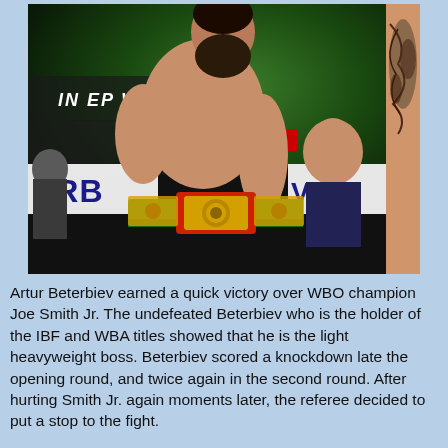[Figure (photo): Boxing weigh-in or face-off scene. A large shirtless bearded fighter (Artur Beterbiev) stands in the foreground center holding a green, red and gold championship belt. A tattooed fighter is visible on the right edge. A referee or official in a dark shirt stands in the background looking upward. Promotional signage in the background reads partial text including 'INTREPID WATCH' and 'ESPN'. Text on banners partially visible: 'ERB' and 'VAS'.]
Artur Beterbiev earned a quick victory over WBO champion Joe Smith Jr. The undefeated Beterbiev who is the holder of the IBF and WBA titles showed that he is the light heavyweight boss. Beterbiev scored a knockdown late the opening round, and twice again in the second round. After hurting Smith Jr. again moments later, the referee decided to put a stop to the fight.